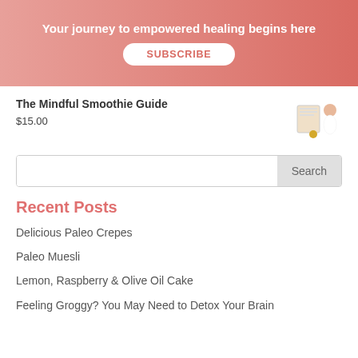Your journey to empowered healing begins here
SUBSCRIBE
The Mindful Smoothie Guide
$15.00
[Figure (illustration): Small book cover and person illustration for The Mindful Smoothie Guide]
Recent Posts
Delicious Paleo Crepes
Paleo Muesli
Lemon, Raspberry & Olive Oil Cake
Feeling Groggy? You May Need to Detox Your Brain